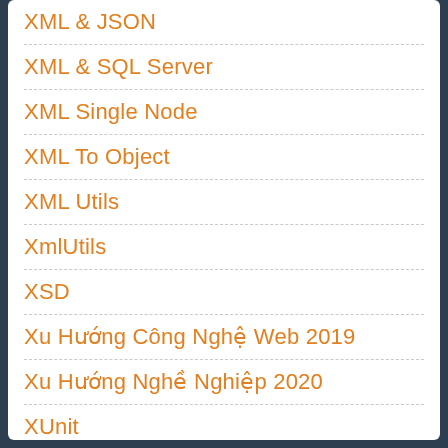XML & JSON
XML & SQL Server
XML Single Node
XML To Object
XML Utils
XmlUtils
XSD
Xu Hướng Công Nghệ Web 2019
Xu Hướng Nghề Nghiệp 2020
XUnit
XUnitTest
Xuyên Việt
YouTube
YouTube Converter
Zelmer Solaris Twix